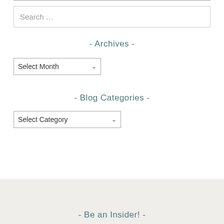[Figure (screenshot): Search input field with placeholder text 'Search ...']
- Archives -
[Figure (screenshot): Dropdown select box labeled 'Select Month']
- Blog Categories -
[Figure (screenshot): Dropdown select box labeled 'Select Category']
- Be an Insider! -